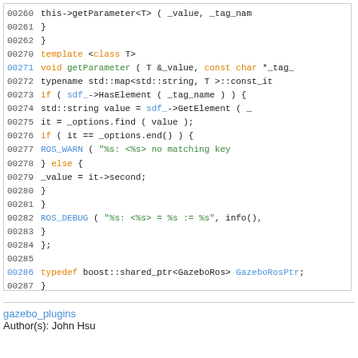[Figure (screenshot): Code listing showing C++ source lines 00260-00291 with syntax highlighting. Orange keywords, green identifiers, blue line numbers for active lines.]
gazebo_plugins
Author(s): John Hsu